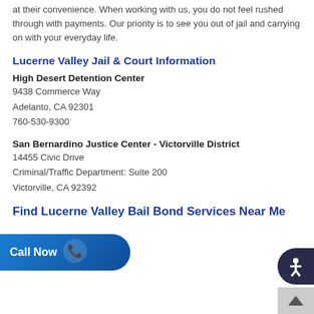at their convenience. When working with us, you do not feel rushed through with payments. Our priority is to see you out of jail and carrying on with your everyday life.
Lucerne Valley Jail & Court Information
High Desert Detention Center
9438 Commerce Way
Adelanto, CA 92301
760-530-9300
San Bernardino Justice Center - Victorville District
14455 Civic Drive
Criminal/Traffic Department: Suite 200
Victorville, CA 92392
Find Lucerne Valley Bail Bond Services Near Me